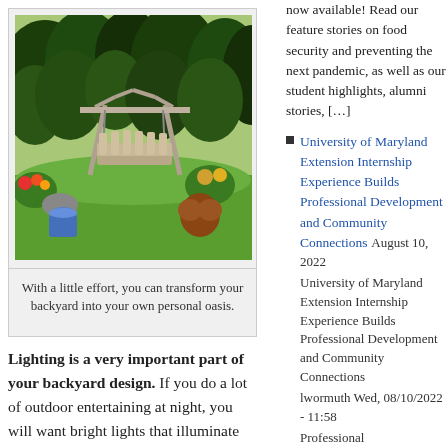[Figure (photo): Garden scene with a wooden swing bench, surrounded by lush green trees and flowering plants on a lawn]
With a little effort, you can transform your backyard into your own personal oasis.
Lighting is a very important part of your backyard design. If you do a lot of outdoor entertaining at night, you will want bright lights that illuminate your yard well, especially near your dining area. Coleman's propane powered tabletop torches are easy to use and perfect for the backyard. Smaller patio lights are ideal for walkways or sittingareas and simple tiki
now available! Read our feature stories on food security and preventing the next pandemic, as well as our student highlights, alumni stories, […]
University of Maryland Extension Internship Experience Builds Professional Development and Community Connections August 10, 2022 University of Maryland Extension Internship Experience Builds Professional Development and Community Connections lwormuth Wed, 08/10/2022 - 11:58 Professional